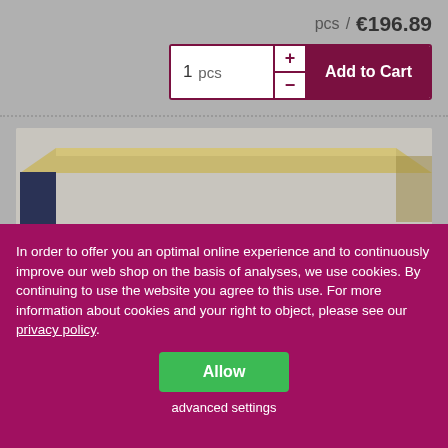pcs / €196.89
[Figure (screenshot): Add to Cart widget with quantity selector showing '1 pcs', plus/minus buttons, and a dark red 'Add to Cart' button]
[Figure (photo): Product photo showing a shelf or furniture item with a wood-top surface and dark blue/navy side panel against a gray background]
In order to offer you an optimal online experience and to continuously improve our web shop on the basis of analyses, we use cookies. By continuing to use the website you agree to this use. For more information about cookies and your right to object, please see our privacy policy.
Allow
advanced settings